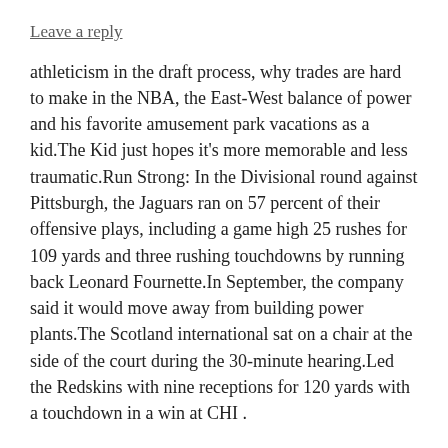Leave a reply
athleticism in the draft process, why trades are hard to make in the NBA, the East-West balance of power and his favorite amusement park vacations as a kid.The Kid just hopes it's more memorable and less traumatic.Run Strong: In the Divisional round against Pittsburgh, the Jaguars ran on 57 percent of their offensive plays, including a game high 25 rushes for 109 yards and three rushing touchdowns by running back Leonard Fournette.In September, the company said it would move away from building power plants.The Scotland international sat on a chair at the side of the court during the 30-minute hearing.Led the Redskins with nine receptions for 120 yards with a touchdown in a win at CHI .
LINEUP ROTATION.It was Correa's second career postseason walkoff against the Yankees .Garbage collectors honked the horns of their trucks in celebration while police officers blared Queen's We Are the Champions from their